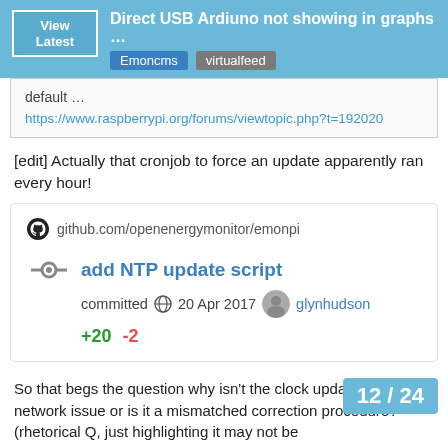Direct USB Ardiuno not showing in graphs ... | Emoncms | virtualfeed
default …
https://www.raspberrypi.org/forums/viewtopic.php?t=192020
[edit] Actually that cronjob to force an update apparently ran every hour!
[Figure (screenshot): GitHub commit card showing: github.com/openenergymonitor/emonpi — commit 'add NTP update script', committed 20 Apr 2017 by glynhudson, +20 -2]
So that begs the question why isn't the clock updated? Is it a network issue or is it a mismatched correction procedure? (rhetorical Q, just highlighting it may not be... issue). Perhaps the ntp_update and/or ntp...
12 / 24